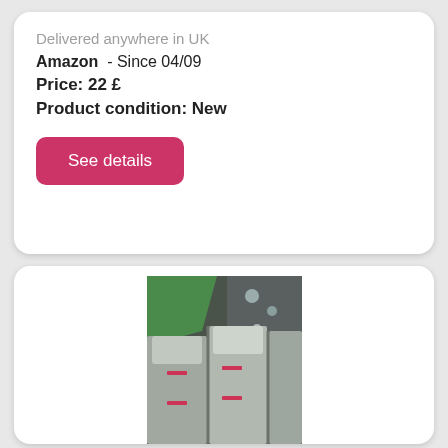Delivered anywhere in UK
Amazon  - Since 04/09
Price: 22 £
Product condition: New
See details
[Figure (photo): Photo of grey/dark leather car seats with red stitching details, viewed from the front, with a green cloth item and metal fixtures visible in the background.]